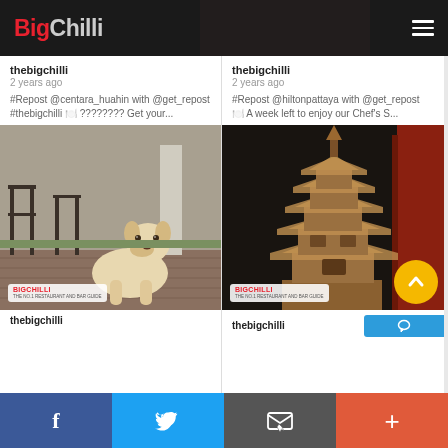Big Chilli — thebigchilli.com header navigation
thebigchilli
2 years ago
#Repost @centara_huahin with @get_repost #thebigchilli ??? ???????? Get your...
[Figure (photo): Photo of a yellow Labrador dog sitting on wooden decking outdoors, with chairs visible in the background. BigChilli watermark logo in lower-left corner.]
thebigchilli
thebigchilli
2 years ago
#Repost @hiltonpattaya with @get_repost ??? A week left to enjoy our Chef's S...
[Figure (photo): Photo of a traditional multi-tiered Chinese/Asian pagoda tower seen from below, set against a dark sky, with red building facades on the right. BigChilli watermark logo in lower-left corner. Yellow scroll-to-top button overlaid at bottom right.]
thebigchilli
Facebook | Twitter | Email | Plus social sharing buttons